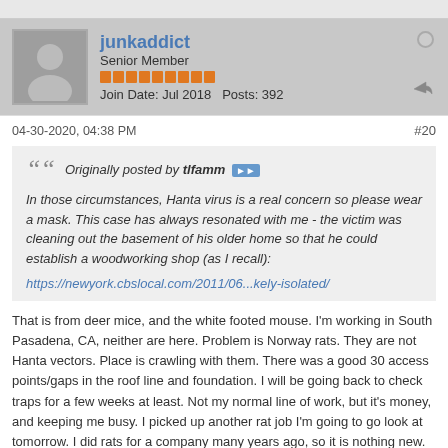junkaddict
Senior Member
Join Date: Jul 2018  Posts: 392
04-30-2020, 04:38 PM
#20
Originally posted by tlfamm
In those circumstances, Hanta virus is a real concern so please wear a mask. This case has always resonated with me - the victim was cleaning out the basement of his older home so that he could establish a woodworking shop (as I recall):
https://newyork.cbslocal.com/2011/06...kely-isolated/
That is from deer mice, and the white footed mouse. I'm working in South Pasadena, CA, neither are here. Problem is Norway rats. They are not Hanta vectors. Place is crawling with them. There was a good 30 access points/gaps in the roof line and foundation. I will be going back to check traps for a few weeks at least. Not my normal line of work, but it's money, and keeping me busy. I picked up another rat job I'm going to go look at tomorrow. I did rats for a company many years ago, so it is nothing new.